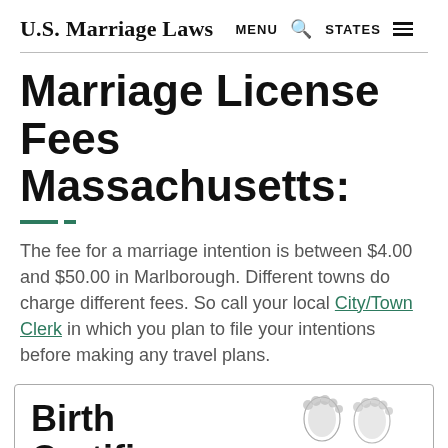U.S. Marriage Laws  MENU  🔍  STATES  ☰
Marriage License Fees Massachusetts:
The fee for a marriage intention is between $4.00 and $50.00 in Marlborough. Different towns do charge different fees. So call your local City/Town Clerk in which you plan to file your intentions before making any travel plans.
Birth Certificate